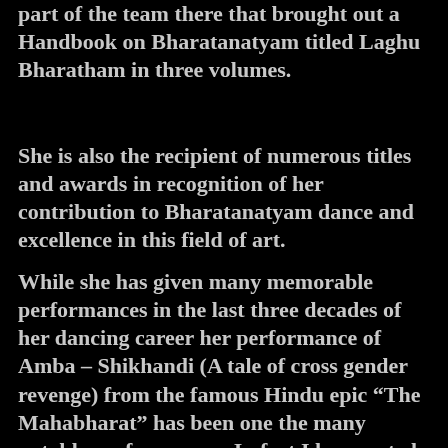part of the team there that brought out a Handbook on Bharatanatyam titled Laghu Bharatham in three volumes.
She is also the recipient of numerous titles and awards in recognition of her contribution to Bharatanatyam dance and excellence in this field of art.
While she has given many memorable performances in the last three decades of her dancing career her performance of Amba – Shikhandi (A tale of cross gender revenge) from the famous Hindu epic “The Mahabharat” has been one the many notable performances. In fact I have noted form pictures from thi...